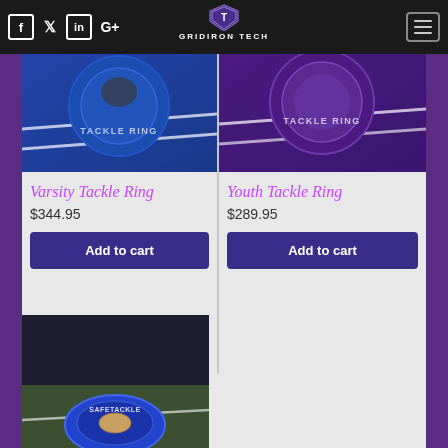GRIDIRON TECH
[Figure (photo): Varsity Tackle Ring product photo - blue circular tackle ring on football field]
Varsity Tackle Ring
$344.95
Add to cart
[Figure (photo): Youth Tackle Ring product photo - purple circular tackle ring on football field]
Youth Tackle Ring
$289.95
Add to cart
[Figure (photo): SafeTackle product photo - blue ring tackle training equipment on football field]